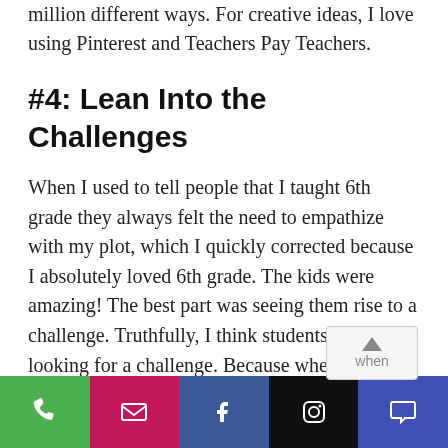million different ways. For creative ideas, I love using Pinterest and Teachers Pay Teachers.
#4: Lean Into the Challenges
When I used to tell people that I taught 6th grade they always felt the need to empathize with my plot, which I quickly corrected because I absolutely loved 6th grade. The kids were amazing! The best part was seeing them rise to a challenge. Truthfully, I think students are looking for a challenge. Because when they conquer it there is a new sense of pride they can own. And the fact that I